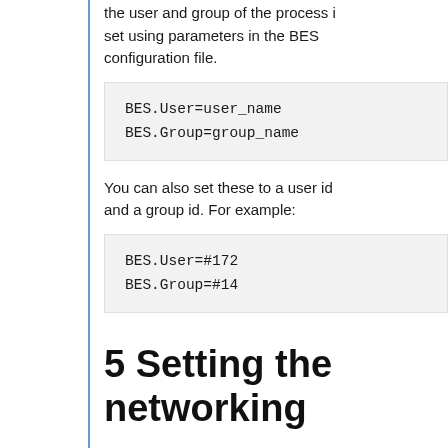the user and group of the process is set using parameters in the BES configuration file.
BES.User=user_name
BES.Group=group_name
You can also set these to a user id and a group id. For example:
BES.User=#172
BES.Group=#14
5 Setting the networking